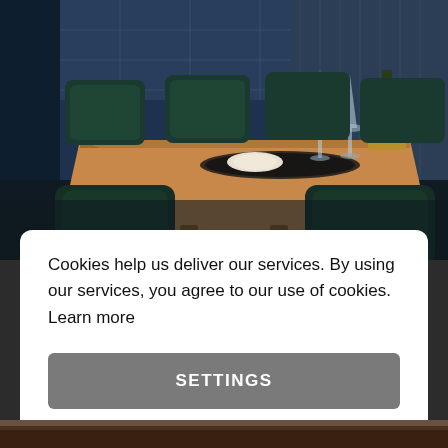[Figure (photo): Restaurant or hotel dining room with a wooden table, teal/dark green upholstered chairs, wine glasses and a champagne bucket on the table, with sheer curtains in the background.]
Cookies help us deliver our services. By using our services, you agree to our use of cookies. Learn more
SETTINGS
AGREE
[Figure (photo): Bottom strip showing a wooden surface or table.]